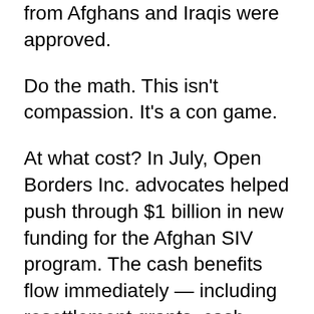from Afghans and Iraqis were approved.
Do the math. This isn't compassion. It's a con game.
At what cost? In July, Open Borders Inc. advocates helped push through $1 billion in new funding for the Afghan SIV program. The cash benefits flow immediately — including resettlement grants, cash, medical assistance, social services, employment services, food stamps, case management services, and welfare that can last up to five years. Despite all that, the feds found that 60% of SIV holders were unemployed 90